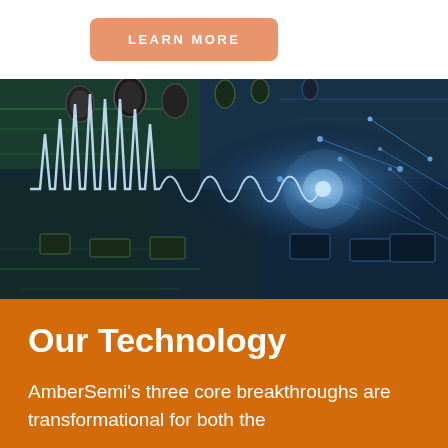LEARN MORE
[Figure (photo): Circuit board with electronic components overlaid with glowing waveforms and network connection lines on a dark blue background]
Our Technology
AmberSemi's three core breakthroughs are transformational for both the